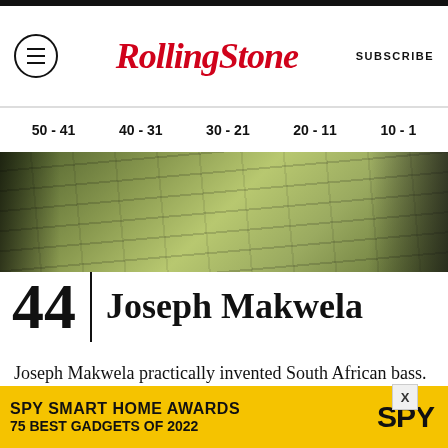Rolling Stone — SUBSCRIBE
50 - 41  |  40 - 31  |  30 - 21  |  20 - 11  |  10 - 1
[Figure (photo): Close-up photograph of wooden floorboards with a yellowish-green tint]
44 | Joseph Makwela
Joseph Makwela practically invented South African bass. He was the heartbeat of the Makgona Tshole Band, who were Johannesburg's version of Motown's Funk Brothers or L.A.'s
[Figure (infographic): Advertisement banner: SPY SMART HOME AWARDS 75 BEST GADGETS OF 2022 with SPY logo]